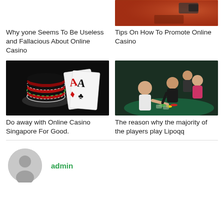[Figure (photo): Casino table with orange felt top-right corner thumbnail]
Why yone Seems To Be Useless and Fallacious About Online Casino
Tips On How To Promote Online Casino
[Figure (photo): Casino chips and playing cards (two Aces) on dark background]
[Figure (photo): Group of people playing at a casino table, smiling and celebrating]
Do away with Online Casino Singapore For Good.
The reason why the majority of the players play Lipoqq
admin